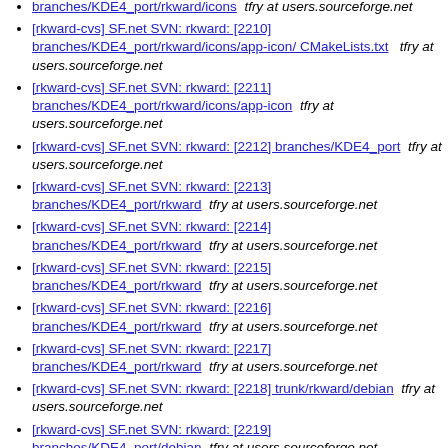[rkward-cvs] SF.net SVN: rkward: [2210] branches/KDE4_port/rkward/icons/app-icon/ CMakeLists.txt   tfry at users.sourceforge.net
[rkward-cvs] SF.net SVN: rkward: [2211] branches/KDE4_port/rkward/icons/app-icon   tfry at users.sourceforge.net
[rkward-cvs] SF.net SVN: rkward: [2212] branches/KDE4_port   tfry at users.sourceforge.net
[rkward-cvs] SF.net SVN: rkward: [2213] branches/KDE4_port/rkward   tfry at users.sourceforge.net
[rkward-cvs] SF.net SVN: rkward: [2214] branches/KDE4_port/rkward   tfry at users.sourceforge.net
[rkward-cvs] SF.net SVN: rkward: [2215] branches/KDE4_port/rkward   tfry at users.sourceforge.net
[rkward-cvs] SF.net SVN: rkward: [2216] branches/KDE4_port/rkward   tfry at users.sourceforge.net
[rkward-cvs] SF.net SVN: rkward: [2217] branches/KDE4_port/rkward   tfry at users.sourceforge.net
[rkward-cvs] SF.net SVN: rkward: [2218] trunk/rkward/debian   tfry at users.sourceforge.net
[rkward-cvs] SF.net SVN: rkward: [2219] branches/KDE4_port/debian   tfry at users.sourceforge.net
[rkward-cvs] SF.net SVN: rkward: [2220]